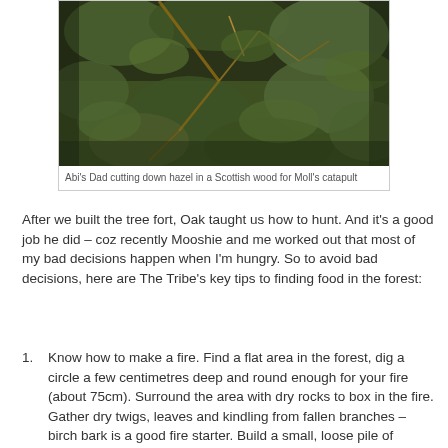[Figure (photo): Photo of Abi's Dad cutting down hazel branches in a Scottish woodland, dense green foliage and branches visible.]
Abi's Dad cutting down hazel in a Scottish wood for Moll's catapult
After we built the tree fort, Oak taught us how to hunt. And it's a good job he did – coz recently Mooshie and me worked out that most of my bad decisions happen when I'm hungry. So to avoid bad decisions, here are The Tribe's key tips to finding food in the forest:
Know how to make a fire. Find a flat area in the forest, dig a circle a few centimetres deep and round enough for your fire (about 75cm). Surround the area with dry rocks to box in the fire. Gather dry twigs, leaves and kindling from fallen branches – birch bark is a good fire starter. Build a small, loose pile of kindling inside the